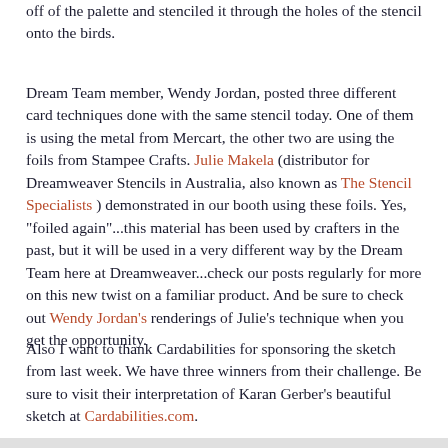off of the palette and stenciled it through the holes of the stencil onto the birds.
Dream Team member, Wendy Jordan, posted three different card techniques done with the same stencil today. One of them is using the metal from Mercart, the other two are using the foils from Stampee Crafts. Julie Makela (distributor for Dreamweaver Stencils in Australia, also known as The Stencil Specialists ) demonstrated in our booth using these foils. Yes, "foiled again"...this material has been used by crafters in the past, but it will be used in a very different way by the Dream Team here at Dreamweaver...check our posts regularly for more on this new twist on a familiar product. And be sure to check out Wendy Jordan's renderings of Julie's technique when you get the opportunity.
Also I want to thank Cardabilities for sponsoring the sketch from last week. We have three winners from their challenge. Be sure to visit their interpretation of Karan Gerber's beautiful sketch at Cardabilities.com.